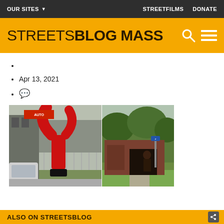OUR SITES ▼    STREETFILMS    DONATE
STREETSBLOG MASS
Apr 13, 2021
💬
[Figure (photo): Two side-by-side street photos: left shows a red inflatable tube dancer figure near a commercial area with a fence and cars; right shows a rundown structure with graffiti and overgrown grass]
ALSO ON STREETSBLOG